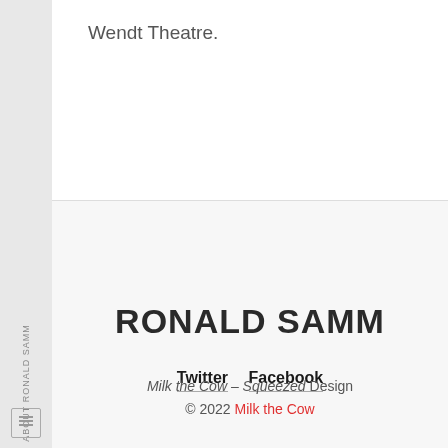Wendt Theatre.
RONALD SAMM
Twitter  Facebook
Milk the Cow – Squeezed Design © 2022 Milk the Cow